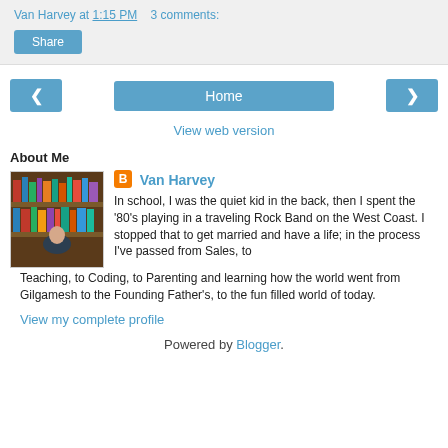Van Harvey at 1:15 PM   3 comments:
[Figure (other): Share button]
[Figure (other): Navigation bar with left arrow, Home button, and right arrow]
View web version
About Me
[Figure (photo): Profile photo of Van Harvey in front of bookshelves]
Van Harvey
In school, I was the quiet kid in the back, then I spent the '80's playing in a traveling Rock Band on the West Coast. I stopped that to get married and have a life; in the process I've passed from Sales, to Teaching, to Coding, to Parenting and learning how the world went from Gilgamesh to the Founding Father's, to the fun filled world of today.
View my complete profile
Powered by Blogger.